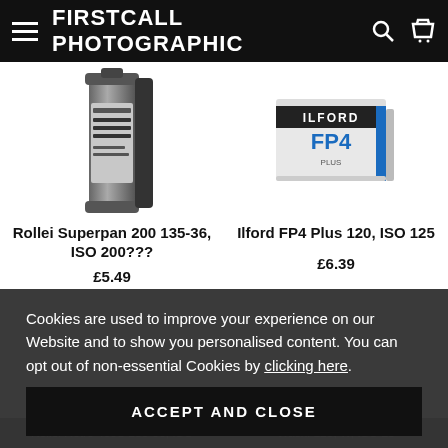FIRSTCALL PHOTOGRAPHIC
[Figure (photo): Rollei Superpan 200 film roll canister - black and white 200 ISO 35mm D.P. 135-36]
Rollei Superpan 200 135-36, ISO 200???
£5.49
[Figure (photo): Ilford FP4 Plus 120 film box - black and white ISO 125]
Ilford FP4 Plus 120, ISO 125
£6.39
Cookies are used to improve your experience on our Website and to show you personalised content. You can opt out of non-essential Cookies by clicking here.
ACCEPT AND CLOSE
Rollei Retro 400S 135-36, ISO
Washi 120, W, ISO 25